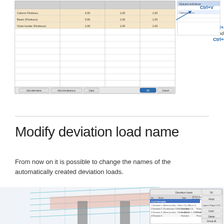[Figure (screenshot): Software UI screenshot showing a spreadsheet/table dialog with Ctrl+A and Ctrl+C annotation on the left, and a Ctrl+V annotation on an Excel-like spreadsheet on the right.]
Modify deviation load name
From now on it is possible to change the names of the automatically created deviation loads.
[Figure (screenshot): 3D structural engineering model rendered with a dialog box showing a list of deviation loads with columns: No., Name, Type, Action type. One row is highlighted in blue showing 'custom name'. Other entries show deviation loads labeled 1-4 as Permanent type.]